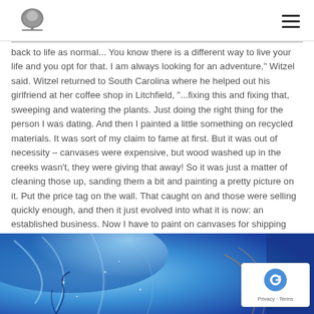[Logo] [Hamburger menu]
back to life as normal... You know there is a different way to live your life and you opt for that. I am always looking for an adventure," Witzel said. Witzel returned to South Carolina where he helped out his girlfriend at her coffee shop in Litchfield, "...fixing this and fixing that, sweeping and watering the plants. Just doing the right thing for the person I was dating. And then I painted a little something on recycled materials. It was sort of my claim to fame at first. But it was out of necessity – canvases were expensive, but wood washed up in the creeks wasn't, they were giving that away! So it was just a matter of cleaning those up, sanding them a bit and painting a pretty picture on it. Put the price tag on the wall. That caught on and those were selling quickly enough, and then it just evolved into what it is now: an established business. Now I have to paint on canvases for shipping reasons," Witzel joked.
[Figure (photo): Colorful abstract painting featuring blue swirling colors and an orange/red shell or seahorse motif, partially visible at the bottom of the page.]